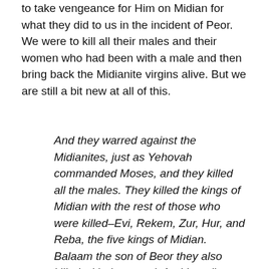to take vengeance for Him on Midian for what they did to us in the incident of Peor. We were to kill all their males and their women who had been with a male and then bring back the Midianite virgins alive. But we are still a bit new at all of this.
And they warred against the Midianites, just as Yehovah commanded Moses, and they killed all the males. They killed the kings of Midian with the rest of those who were killed–Evi, Rekem, Zur, Hur, and Reba, the five kings of Midian. Balaam the son of Beor they also killed with the sword. And Israel's son took Midian's women [na-shi, the possessive plural form of  ish-shah] captive, with their children [ta-phim], and plundered all their cattle, all their flocks, and all their goods. They also burned with fire all the cities where they